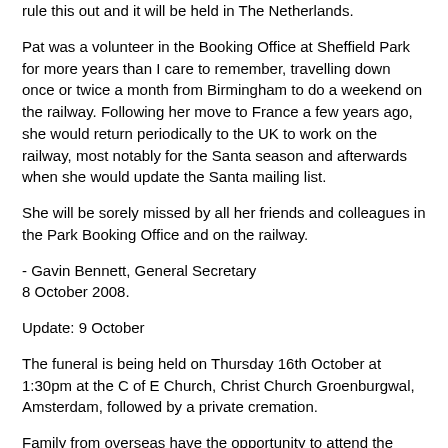rule this out and it will be held in The Netherlands.
Pat was a volunteer in the Booking Office at Sheffield Park for more years than I care to remember, travelling down once or twice a month from Birmingham to do a weekend on the railway. Following her move to France a few years ago, she would return periodically to the UK to work on the railway, most notably for the Santa season and afterwards when she would update the Santa mailing list.
She will be sorely missed by all her friends and colleagues in the Park Booking Office and on the railway.
- Gavin Bennett, General Secretary
8 October 2008.
Update: 9 October
The funeral is being held on Thursday 16th October at 1:30pm at the C of E Church, Christ Church Groenburgwal, Amsterdam, followed by a private cremation.
Family from overseas have the opportunity to attend the Northern Entrance...